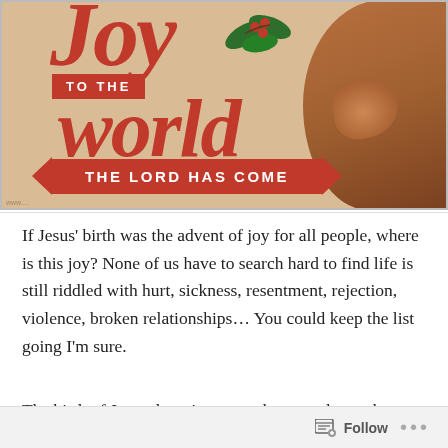[Figure (photo): A Christmas-themed image with red decorative text reading 'Joy to the world, THE LORD HAS COME' on a beige/tan background, with a pregnant belly visible on the right side.]
If Jesus’ birth was the advent of joy for all people, where is this joy? None of us have to search hard to find life is still riddled with hurt, sickness, resentment, rejection, violence, broken relationships… You could keep the list going I’m sure.
The birth of Jesus doesn’t seem to have made much
Follow …